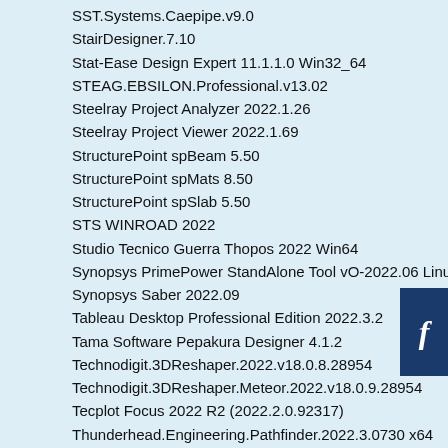SST.Systems.Caepipe.v9.0
StairDesigner.7.10
Stat-Ease Design Expert 11.1.1.0 Win32_64
STEAG.EBSILON.Professional.v13.02
Steelray Project Analyzer 2022.1.26
Steelray Project Viewer 2022.1.69
StructurePoint spBeam 5.50
StructurePoint spMats 8.50
StructurePoint spSlab 5.50
STS WINROAD 2022
Studio Tecnico Guerra Thopos 2022 Win64
Synopsys PrimePower StandAlone Tool vO-2022.06 Linu64
Synopsys Saber 2022.09
Tableau Desktop Professional Edition 2022.3.2
Tama Software Pepakura Designer 4.1.2
Technodigit.3DReshaper.2022.v18.0.8.28954
Technodigit.3DReshaper.Meteor.2022.v18.0.9.28954
Tecplot Focus 2022 R2 (2022.2.0.92317)
Thunderhead.Engineering.Pathfinder.2022.3.0730 x64
Thunderhead.Engineering.PetraSim.2022.1.0925 x64
Thunderhead.Engineering.PyroSim.2022.1.0417 x64
TICRA CHAMP 3.2 x64
Topaz Labs A.I. Gigapixel v3.0.4
TopoGrafix.ExpertGPS.v5.94
Trimble.Business.Center(TBC).v4.10.1